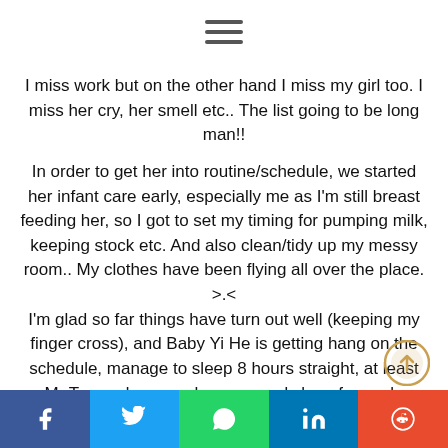[Figure (other): Hamburger menu icon (three horizontal lines)]
I miss work but on the other hand I miss my girl too. I miss her cry, her smell etc.. The list going to be long man!!
In order to get her into routine/schedule, we started her infant care early, especially me as I'm still breast feeding her, so I got to set my timing for pumping milk, keeping stock etc. And also clean/tidy up my messy room.. My clothes have been flying all over the place. >.<
I'm glad so far things have turn out well (keeping my finger cross), and Baby Yi He is getting hang on the schedule, manage to sleep 8 hours straight, at least Mr Tan and me can have a good sleep for work.
How's my 3 months you have been wondering. I should say ...erful journey for me. Despite all the cries ...t and I'm glad Mr Tan share the same...
[Figure (other): Scroll-to-top or navigation circular icon visible in bottom right corner]
[Figure (other): Share bar at bottom with Facebook, Twitter, WhatsApp, LinkedIn, Reddit buttons]